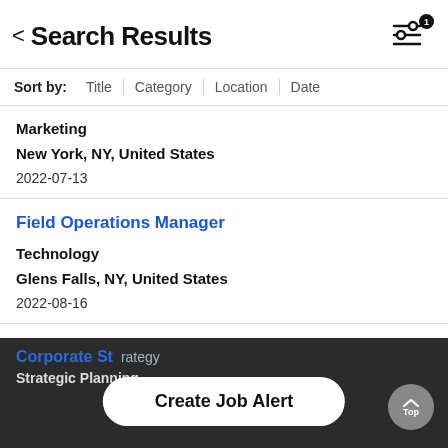< Search Results
Sort by: Title | Category | Location | Date
Marketing
New York, NY, United States
2022-07-13
Field Operations Manager
Technology
Glens Falls, NY, United States
2022-08-16
Corporate S... (partial)
Strategic Planning
Create Job Alert